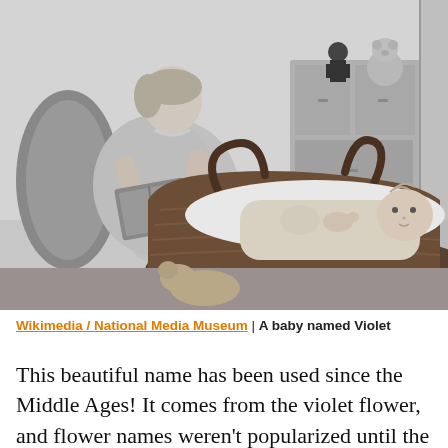[Figure (photo): Black and white vintage photograph of a woman sitting in a chair reading a book next to a baby lying in a wicker Moses basket. Stuffed toys are visible on furniture in the background.]
Wikimedia / National Media Museum | A baby named Violet
This beautiful name has been used since the Middle Ages! It comes from the violet flower, and flower names weren't popularized until the 19th century.